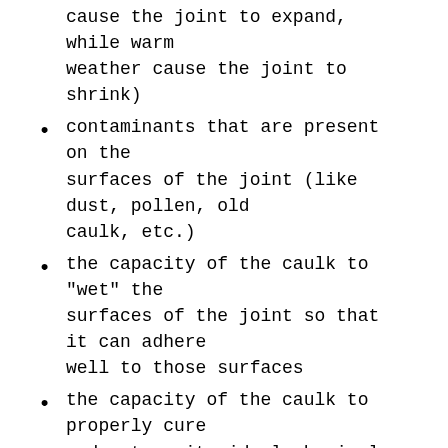cause the joint to expand, while warm weather cause the joint to shrink)
contaminants that are present on the surfaces of the joint (like dust, pollen, old caulk, etc.)
the capacity of the caulk to "wet" the surfaces of the joint so that it can adhere well to those surfaces
the capacity of the caulk to properly cure and mature its ideal physical properties in the allotted time
IDEAL WEATHER CONDITION
Make it a priority to caulk when the